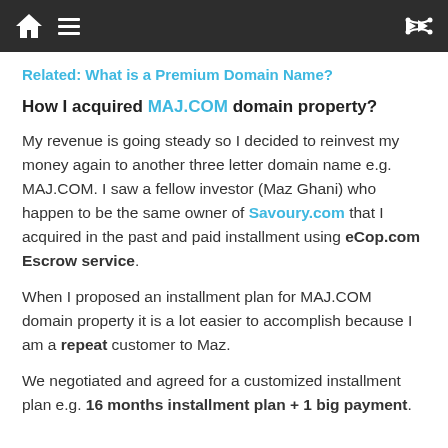[navigation bar with home icon, menu icon, shuffle icon]
Related: What is a Premium Domain Name?
How I acquired MAJ.COM domain property?
My revenue is going steady so I decided to reinvest my money again to another three letter domain name e.g. MAJ.COM. I saw a fellow investor (Maz Ghani) who happen to be the same owner of Savoury.com that I acquired in the past and paid installment using eCop.com Escrow service.
When I proposed an installment plan for MAJ.COM domain property it is a lot easier to accomplish because I am a repeat customer to Maz.
We negotiated and agreed for a customized installment plan e.g. 16 months installment plan + 1 big payment.